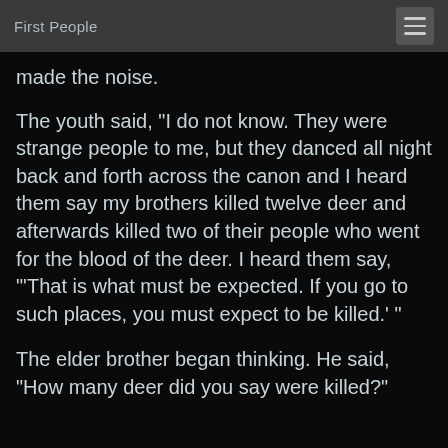First People
made the noise.
The youth said, "I do not know. They were strange people to me, but they danced all night back and forth across the canon and I heard them say my brothers killed twelve deer and afterwards killed two of their people who went for the blood of the deer. I heard them say, "'That is what must be expected. If you go to such places, you must expect to be killed.' "
The elder brother began thinking. He said, "How many deer did you say were killed?"